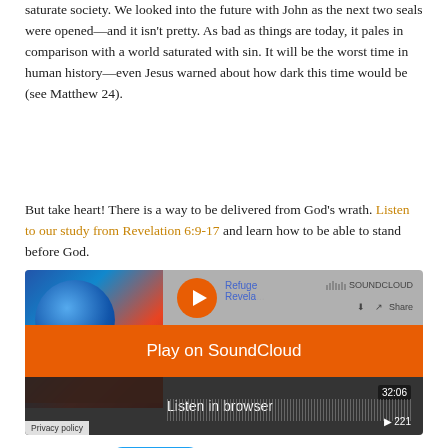saturate society. We looked into the future with John as the next two seals were opened—and it isn't pretty. As bad as things are today, it pales in comparison with a world saturated with sin. It will be the worst time in human history—even Jesus warned about how dark this time would be (see Matthew 24).
But take heart! There is a way to be delivered from God's wrath. Listen to our study from Revelation 6:9-17 and learn how to be able to stand before God.
[Figure (screenshot): SoundCloud embedded audio player showing 'Refuge Revela...' with play button, orange 'Play on SoundCloud' bar, 'Listen in browser' text, waveform, duration 32:06, and 221 plays. Thumbnail shows a stylized globe image.]
Tweet
Continue Sharing the